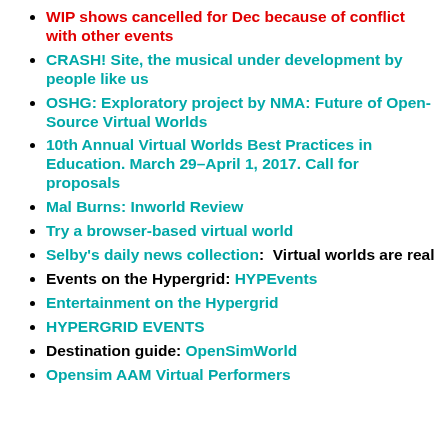WIP shows cancelled for Dec because of conflict with other events
CRASH! Site, the musical under development by people like us
OSHG: Exploratory project by NMA: Future of Open-Source Virtual Worlds
10th Annual Virtual Worlds Best Practices in Education. March 29–April 1, 2017. Call for proposals
Mal Burns: Inworld Review
Try a browser-based virtual world
Selby's daily news collection:  Virtual worlds are real
Events on the Hypergrid: HYPEvents
Entertainment on the Hypergrid
HYPERGRID EVENTS
Destination guide: OpenSimWorld
Opensim AAM Virtual Performers